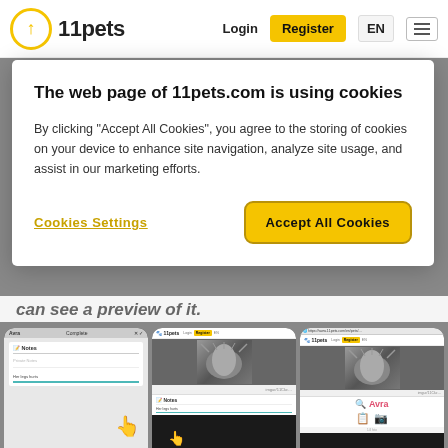[Figure (screenshot): 11pets website navigation bar with logo, Login, Register (yellow button), EN language button, and hamburger menu]
[Figure (screenshot): Cookie consent dialog overlay: title 'The web page of 11pets.com is using cookies', body text about accepting cookies, with 'Cookies Settings' link and 'Accept All Cookies' yellow button]
can see a preview of it.
[Figure (screenshot): Three mobile phone screenshots showing the 11pets app: first phone shows a notes entry screen with a hand cursor, second phone shows a pet profile with a dog photo and notes section, third phone shows the 11pets website with pet profile displaying 'Avra' in pink text]